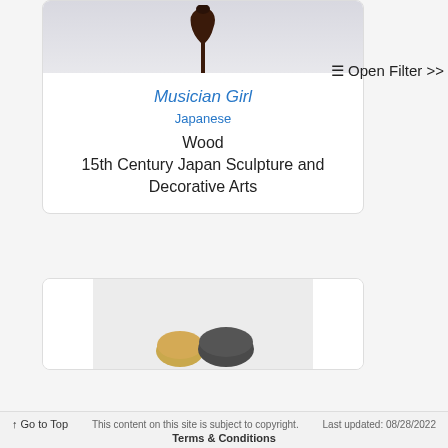[Figure (photo): Partial view of a wooden Japanese sculpture (Musician Girl) on a white/gray background, showing the lower portion of the dark wood figure mounted on a thin pin/stand.]
Musician Girl
Japanese
Wood
15th Century Japan Sculpture and Decorative Arts
≡ Open Filter >>
[Figure (photo): Partial view of a second artwork card showing two rounded stone-like objects (one golden/yellow, one dark gray) on a light gray background.]
↑ Go to Top   This content on this site is subject to copyright.   Last updated: 08/28/2022
Terms & Conditions